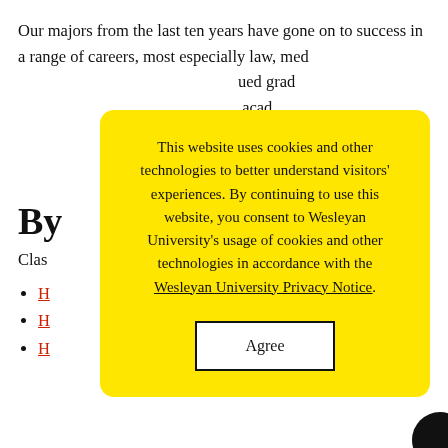Our majors from the last ten years have gone on to success in a range of careers, most especially law, med[icine, business, and ...] [pursued] grad[uate and professional studies ...] acad[emic ...] lies buil[ding ...] lls that
By
Clas[ses]
H[link]
H[link]
H[link]
[Figure (other): Cookie consent modal overlay with yellow background. Text reads: 'This website uses cookies and other technologies to better understand visitors' experiences. By continuing to use this website, you consent to Wesleyan University's usage of cookies and other technologies in accordance with the Wesleyan University Privacy Notice.' with an 'Agree' button.]